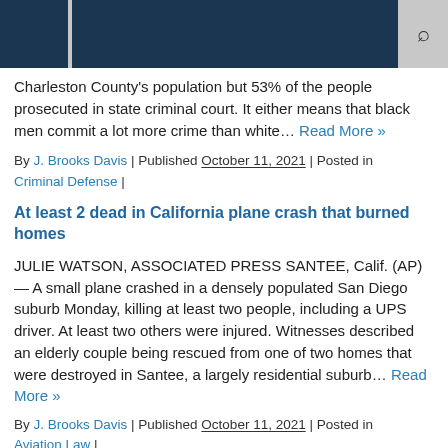Charleston County's population but 53% of the people prosecuted in state criminal court. It either means that black men commit a lot more crime than white… Read More »
By J. Brooks Davis | Published October 11, 2021 | Posted in Criminal Defense |
At least 2 dead in California plane crash that burned homes
JULIE WATSON, ASSOCIATED PRESS SANTEE, Calif. (AP) — A small plane crashed in a densely populated San Diego suburb Monday, killing at least two people, including a UPS driver. At least two others were injured. Witnesses described an elderly couple being rescued from one of two homes that were destroyed in Santee, a largely residential suburb… Read More »
By J. Brooks Davis | Published October 11, 2021 | Posted in Aviation Law |